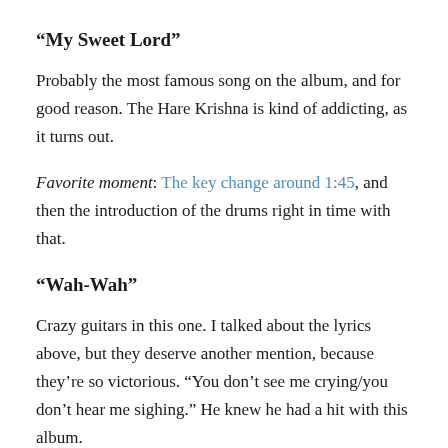“My Sweet Lord”
Probably the most famous song on the album, and for good reason. The Hare Krishna is kind of addicting, as it turns out.
Favorite moment: The key change around 1:45, and then the introduction of the drums right in time with that.
“Wah-Wah”
Crazy guitars in this one. I talked about the lyrics above, but they deserve another mention, because they’re so victorious. “You don’t see me crying/you don’t hear me sighing.” He knew he had a hit with this album.